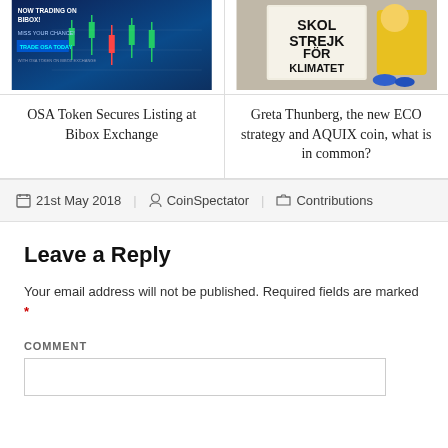[Figure (photo): Trading chart screenshot with 'NOW TRADING ON BIBOX!' and 'TRADE OSA TODAY' overlay text on dark blue background]
OSA Token Secures Listing at Bibox Exchange
[Figure (photo): Person in yellow jacket sitting next to a sign reading 'SKOLSTREJK FÖR KLIMATET']
Greta Thunberg, the new ECO strategy and AQUIX coin, what is in common?
21st May 2018  CoinSpectator  Contributions
Leave a Reply
Your email address will not be published. Required fields are marked *
COMMENT